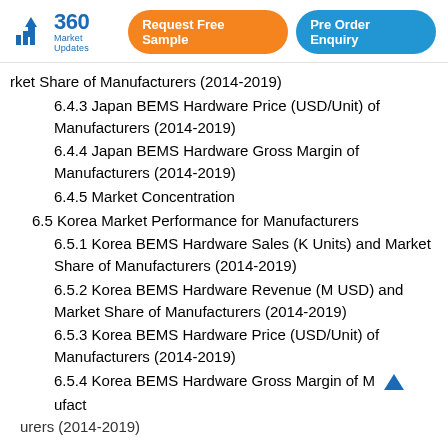360 Market Updates | Request Free Sample | Pre Order Enquiry
rket Share of Manufacturers (2014-2019)
6.4.3 Japan BEMS Hardware Price (USD/Unit) of Manufacturers (2014-2019)
6.4.4 Japan BEMS Hardware Gross Margin of Manufacturers (2014-2019)
6.4.5 Market Concentration
6.5 Korea Market Performance for Manufacturers
6.5.1 Korea BEMS Hardware Sales (K Units) and Market Share of Manufacturers (2014-2019)
6.5.2 Korea BEMS Hardware Revenue (M USD) and Market Share of Manufacturers (2014-2019)
6.5.3 Korea BEMS Hardware Price (USD/Unit) of Manufacturers (2014-2019)
6.5.4 Korea BEMS Hardware Gross Margin of Manufacturers (2014-2019)